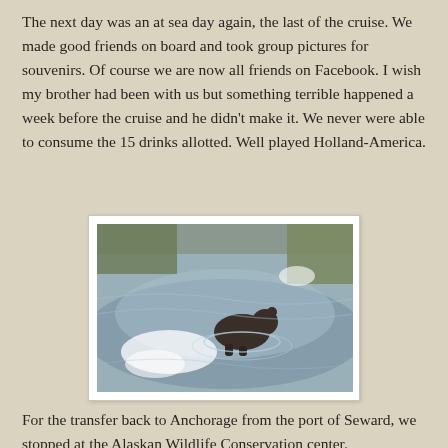The next day was an at sea day again, the last of the cruise. We made good friends on board and took group pictures for souvenirs. Of course we are now all friends on Facebook. I wish my brother had been with us but something terrible happened a week before the cruise and he didn't make it. We never were able to consume the 15 drinks allotted. Well played Holland-America.
[Figure (photo): A bear wading through a shallow river or stream, surrounded by rippling water with bright sunlight reflections. Vegetation visible in the background.]
For the transfer back to Anchorage from the port of Seward, we stopped at the Alaskan Wildlife Conservation center.